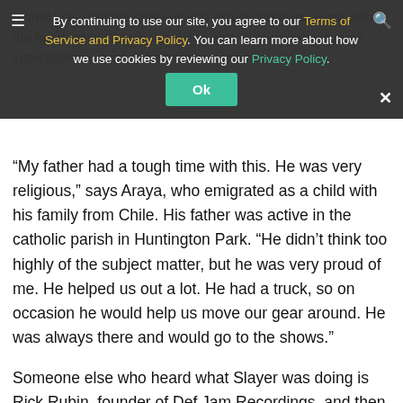By continuing to use our site, you agree to our Terms of Service and Privacy Policy. You can learn more about how we use cookies by reviewing our Privacy Policy. Ok
“My father had a tough time with this. He was very religious,” says Araya, who emigrated as a child with his family from Chile. His father was active in the catholic parish in Huntington Park. “He didn’t think too highly of the subject matter, but he was very proud of me. He helped us out a lot. He had a truck, so on occasion he would help us move our gear around. He was always there and would go to the shows.”
Someone else who heard what Slayer was doing is Rick Rubin, founder of Def Jam Recordings, and then still best-known as a hip-hop impresario. He signed Slayer to his label and soon produced what would become the band’s career-defining third album, 1986’s Reign in Blood. The relationship would last, as Rubin traveled from Def Jam to American Recordings, battling corporate distributors that balked at releasing such horrific material. Surviving the years of moral outrage and platinum sales is a war